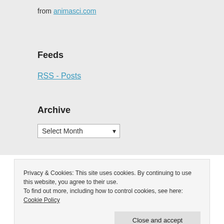from animasci.com
Feeds
RSS - Posts
Archive
Select Month
Privacy & Cookies: This site uses cookies. By continuing to use this website, you agree to their use.
To find out more, including how to control cookies, see here: Cookie Policy
Close and accept